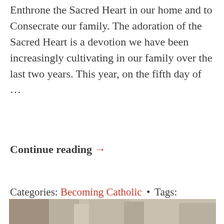Enthrone the Sacred Heart in our home and to Consecrate our family. The adoration of the Sacred Heart is a devotion we have been increasingly cultivating in our family over the last two years. This year, on the fifth day of …
Continue reading →
Categories: Becoming Catholic • Tags: Family, Love, Maronite, Sacred Heart, Video •
[Figure (photo): Partial photo strip at bottom of page, showing what appears to be an outdoor scene with trees, in muted sepia tones.]